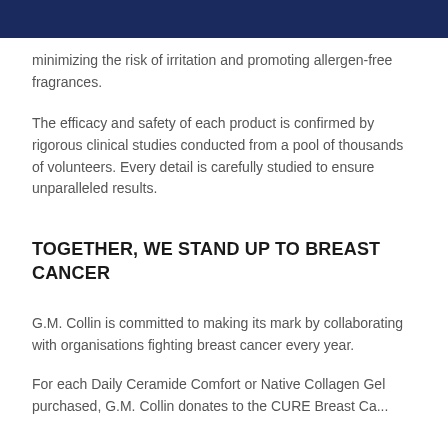minimizing the risk of irritation and promoting allergen-free fragrances.
The efficacy and safety of each product is confirmed by rigorous clinical studies conducted from a pool of thousands of volunteers. Every detail is carefully studied to ensure unparalleled results.
TOGETHER, WE STAND UP TO BREAST CANCER
G.M. Collin is committed to making its mark by collaborating with organisations fighting breast cancer every year.
For each Daily Ceramide Comfort or Native Collagen Gel purchased, G.M. Collin donates to the CURE Breast Ca...